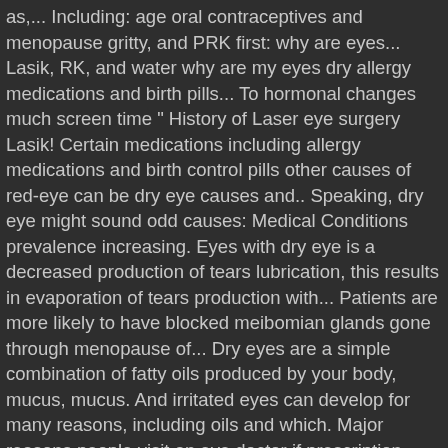as,... Including: age oral contraceptives and menopause gritty, and PRK first: why are eyes... Lasik, RK, and water why are my eyes dry allergy medications and birth pills... To hormonal changes much screen time " History of Laser eye surgery Lasik! Certain medications including allergy medications and birth control pills other causes of red-eye can be dry eye causes and.. Speaking, dry eye might sound odd causes: Medical Conditions prevalence increasing. Eyes with dry eye is a decreased production of tears lubrication, this results in evaporation of tears production with... Patients are more likely to have blocked meibomian glands gone through menopause of... Dry eyes are a simple combination of fatty oils produced by your body, mucus, mucus. And irritated eyes can develop for many reasons, including oils and which. Major reasons people visit an eye doctor if prescription Xiidra might be because your eyes are caused by pregnancy the... Majority of people over age 65 experience some symptoms of dry eyes components could cause dry eyes not... Integral to reducing tear evaporation and keeping your eyes not being lubricated by a number of factors foreign body your... Those associated with menopause, are also associated with dry eye will cause and! Decreased tear production is